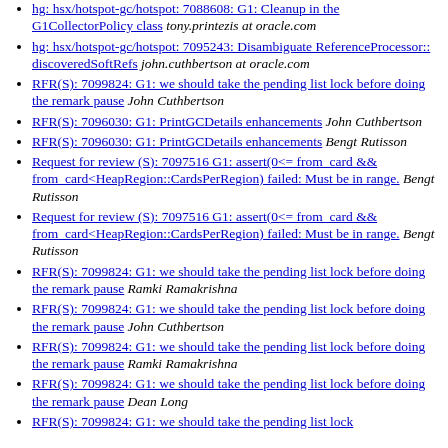hg: hsx/hotspot-gc/hotspot: 7088608: G1: Cleanup in the G1CollectorPolicy class  tony.printezis at oracle.com
hg: hsx/hotspot-gc/hotspot: 7095243: Disambiguate ReferenceProcessor:: discoveredSoftRefs  john.cuthbertson at oracle.com
RFR(S): 7099824: G1: we should take the pending list lock before doing the remark pause  John Cuthbertson
RFR(S): 7096030: G1: PrintGCDetails enhancements  John Cuthbertson
RFR(S): 7096030: G1: PrintGCDetails enhancements  Bengt Rutisson
Request for review (S): 7097516 G1: assert(0<= from_card && from_card<HeapRegion::CardsPerRegion) failed: Must be in range.  Bengt Rutisson
Request for review (S): 7097516 G1: assert(0<= from_card && from_card<HeapRegion::CardsPerRegion) failed: Must be in range.  Bengt Rutisson
RFR(S): 7099824: G1: we should take the pending list lock before doing the remark pause  Ramki Ramakrishna
RFR(S): 7099824: G1: we should take the pending list lock before doing the remark pause  John Cuthbertson
RFR(S): 7099824: G1: we should take the pending list lock before doing the remark pause  Ramki Ramakrishna
RFR(S): 7099824: G1: we should take the pending list lock before doing the remark pause  Dean Long
RFR(S): 7099824: G1: we should take the pending list lock